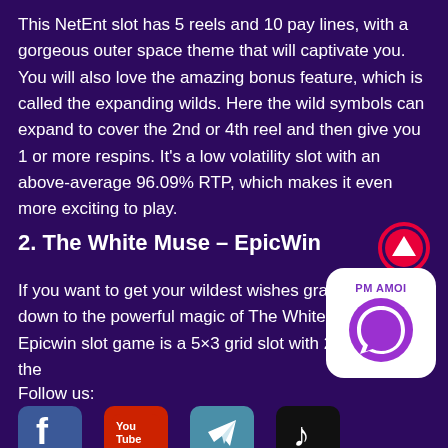This NetEnt slot has 5 reels and 10 pay lines, with a gorgeous outer space theme that will captivate you. You will also love the amazing bonus feature, which is called the expanding wilds. Here the wild symbols can expand to cover the 2nd or 4th reel and then give you 1 or more respins. It's a low volatility slot with an above-average 96.09% RTP, which makes it even more exciting to play.
2. The White Muse – EpicWin
[Figure (illustration): Red circular up-arrow button icon]
If you want to get your wildest wishes granted, ju... down to the powerful magic of The White Muse. Epicwin slot game is a 5×3 grid slot with 25 pay lines, the
[Figure (logo): PM AMOI WhatsApp contact widget with purple WhatsApp logo on white rounded rectangle background]
Follow us:
[Figure (logo): Social media icons row: Facebook (blue), YouTube (red), Telegram (teal), TikTok (black)]